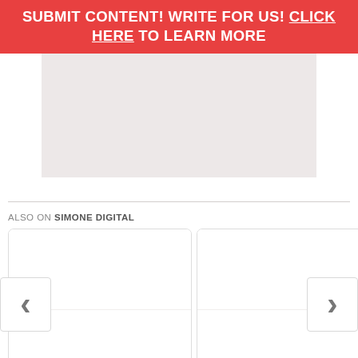SUBMIT CONTENT! WRITE FOR US! CLICK HERE TO LEARN MORE
[Figure (other): Light pinkish-gray rectangular image placeholder area below the header banner]
ALSO ON SIMONE DIGITAL
[Figure (other): Two card thumbnails with left chevron and right chevron navigation arrows, part of a carousel widget labeled 'Also on Simone Digital']